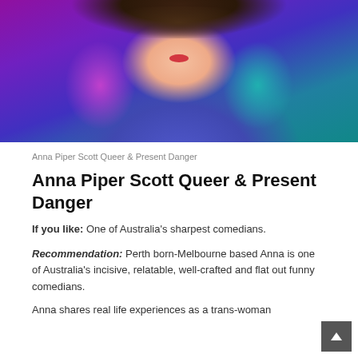[Figure (photo): Photo of Anna Piper Scott with colorful background lighting in shades of purple, pink and teal, wearing a blue/purple top, with curly dark hair and red lipstick]
Anna Piper Scott Queer & Present Danger
Anna Piper Scott Queer & Present Danger
If you like: One of Australia's sharpest comedians.
Recommendation: Perth born-Melbourne based Anna is one of Australia's incisive, relatable, well-crafted and flat out funny comedians.
Anna shares real life experiences as a trans-woman